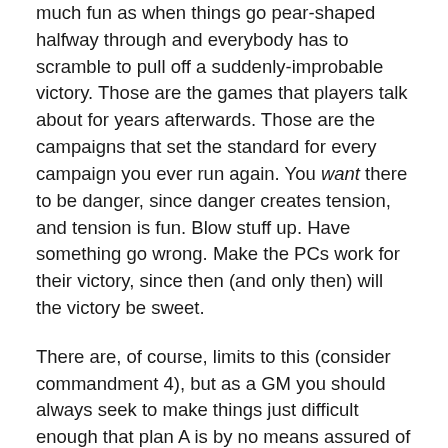much fun as when things go pear-shaped halfway through and everybody has to scramble to pull off a suddenly-improbable victory. Those are the games that players talk about for years afterwards. Those are the campaigns that set the standard for every campaign you ever run again. You want there to be danger, since danger creates tension, and tension is fun. Blow stuff up. Have something go wrong. Make the PCs work for their victory, since then (and only then) will the victory be sweet.
There are, of course, limits to this (consider commandment 4), but as a GM you should always seek to make things just difficult enough that plan A is by no means assured of success and plan B is likely to be shot to hell, too. This may sound mean, but if you give your PCs the opportunities to succeed, then everything will be fine.